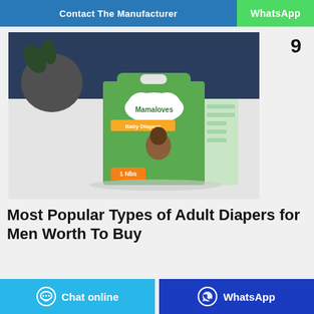Contact The Manufacturer | WhatsApp
9
[Figure (photo): Product photo of Mamaloves Baby Diapers box (size 1, newborn) placed on a white surface with a dark blue background and a gray decorative vase in the upper left.]
Most Popular Types of Adult Diapers for Men Worth To Buy
Chat online | WhatsApp